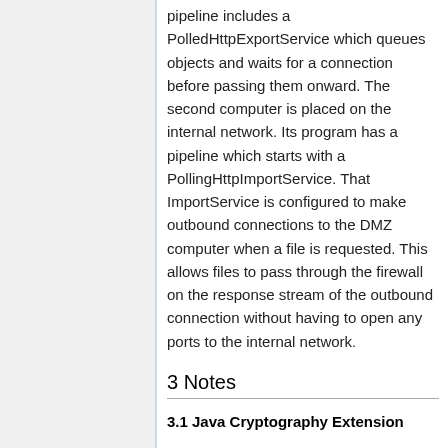pipeline includes a PolledHttpExportService which queues objects and waits for a connection before passing them onward. The second computer is placed on the internal network. Its program has a pipeline which starts with a PollingHttpImportService. That ImportService is configured to make outbound connections to the DMZ computer when a file is requested. This allows files to pass through the firewall on the response stream of the outbound connection without having to open any ports to the internal network.
3 Notes
3.1 Java Cryptography Extension